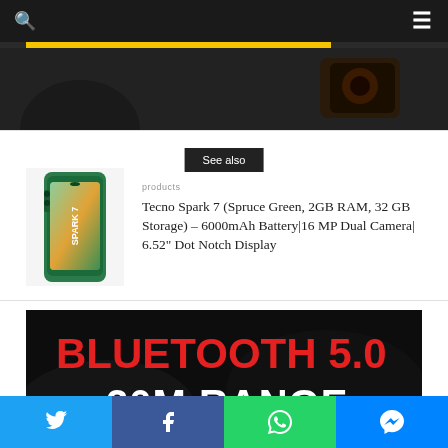Navigation bar with search and menu icons
[Figure (photo): Dark banner image with yellow bar accent and phone/electronics product in background]
See also
[Figure (photo): Tecno Spark 7 smartphone in Spruce Green color]
products
Tecno Spark 7 (Spruce Green, 2GB RAM, 32 GB Storage) – 6000mAh Battery|16 MP Dual Camera| 6.52" Dot Notch Display
[Figure (photo): Dark promotional image with red text BLUETOOTH 5.0 and white text 20M RANGE]
Social share bar: Twitter, Facebook, WhatsApp, Messenger